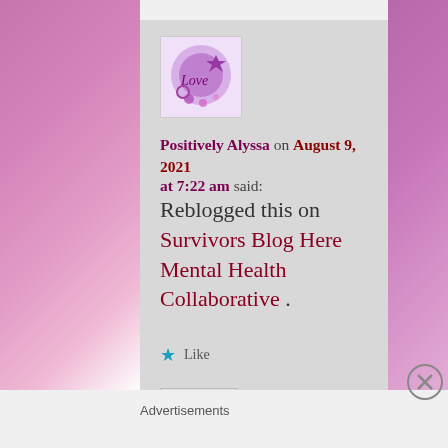[Figure (illustration): Purple floral/love themed avatar image with hearts and butterfly]
Positively Alyssa on August 9, 2021 at 7:22 am said:
Reblogged this on Survivors Blog Here Mental Health Collaborative .
★ Like
Reply ↓
Advertisements